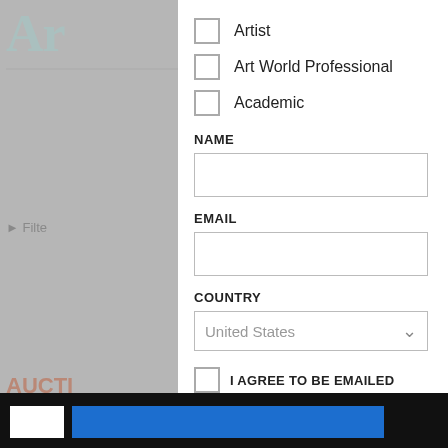Artist
Art World Professional
Academic
NAME
EMAIL
COUNTRY
United States
I AGREE TO BE EMAILED
SUBSCRIBE NOW!